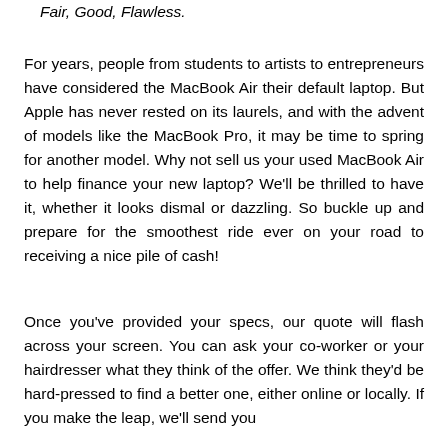Fair, Good, Flawless.
For years, people from students to artists to entrepreneurs have considered the MacBook Air their default laptop. But Apple has never rested on its laurels, and with the advent of models like the MacBook Pro, it may be time to spring for another model. Why not sell us your used MacBook Air to help finance your new laptop? We'll be thrilled to have it, whether it looks dismal or dazzling. So buckle up and prepare for the smoothest ride ever on your road to receiving a nice pile of cash!
Once you've provided your specs, our quote will flash across your screen. You can ask your co-worker or your hairdresser what they think of the offer. We think they'd be hard-pressed to find a better one, either online or locally. If you make the leap, we'll send you